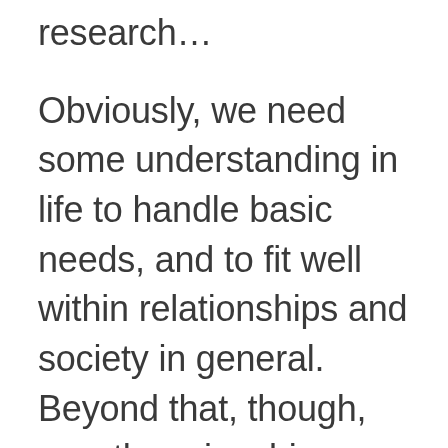observations to aid in your research...
Obviously, we need some understanding in life to handle basic needs, and to fit well within relationships and society in general. Beyond that, though, yes, there is a big difference between understanding and knowing. All Oriental and most Occidental schools of thought frequently refer to a higher knowledge—direct